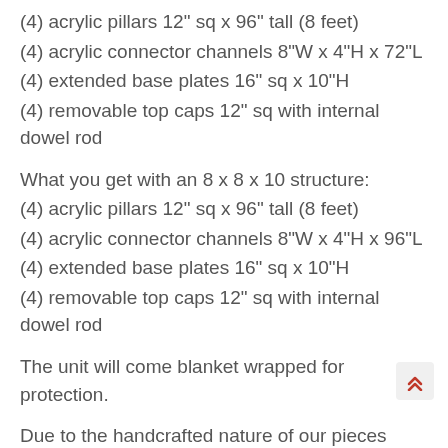(4) acrylic pillars 12" sq x 96" tall (8 feet)
(4) acrylic connector channels 8"W x 4"H x 72"L
(4) extended base plates 16" sq x 10"H
(4) removable top caps 12" sq with internal dowel rod
What you get with an 8 x 8 x 10 structure:
(4) acrylic pillars 12" sq x 96" tall (8 feet)
(4) acrylic connector channels 8"W x 4"H x 96"L
(4) extended base plates 16" sq x 10"H
(4) removable top caps 12" sq with internal dowel rod
The unit will come blanket wrapped for protection.
Due to the handcrafted nature of our pieces each one is unique and no two are ever exactly alike. Each piece will be made to order in your